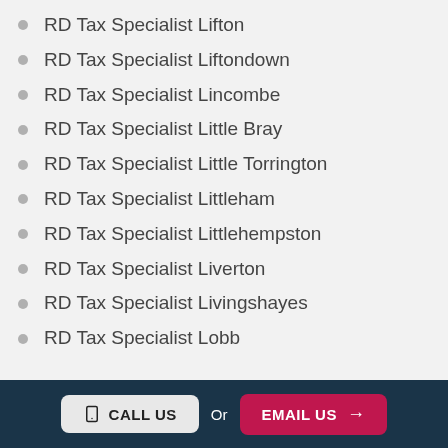RD Tax Specialist Lifton
RD Tax Specialist Liftondown
RD Tax Specialist Lincombe
RD Tax Specialist Little Bray
RD Tax Specialist Little Torrington
RD Tax Specialist Littleham
RD Tax Specialist Littlehempston
RD Tax Specialist Liverton
RD Tax Specialist Livingshayes
RD Tax Specialist Lobb
CALL US  Or  EMAIL US →